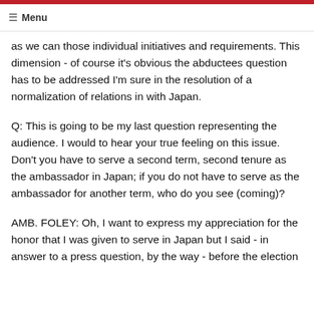☰ Menu
as we can those individual initiatives and requirements. This dimension - of course it's obvious the abductees question has to be addressed I'm sure in the resolution of a normalization of relations in with Japan.
Q: This is going to be my last question representing the audience. I would to hear your true feeling on this issue. Don't you have to serve a second term, second tenure as the ambassador in Japan; if you do not have to serve as the ambassador for another term, who do you see (coming)?
AMB. FOLEY: Oh, I want to express my appreciation for the honor that I was given to serve in Japan but I said - in answer to a press question, by the way - before the election